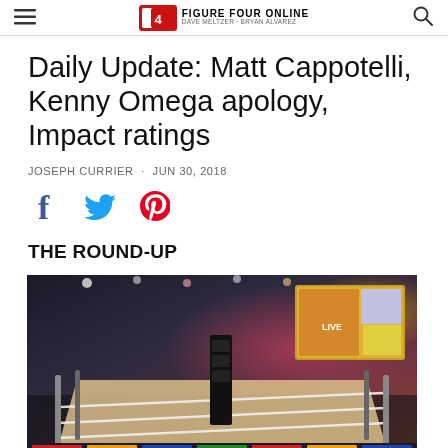Figure Four Online — Dave Meltzer / Bryan Alvarez
Daily Update: Matt Cappotelli, Kenny Omega apology, Impact ratings
JOSEPH CURRIER · JUN 30, 2018
[Figure (infographic): Social sharing icons: Facebook (blue), Twitter (blue), Pinterest (red)]
THE ROUND-UP
[Figure (photo): Indoor professional wrestling ring viewed from ringside, arena with stage lighting and large video screen in background showing colorful graphics]